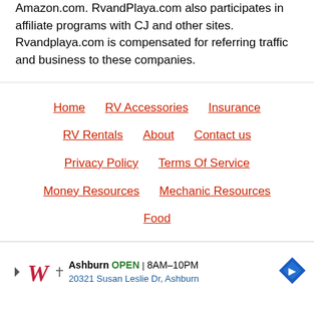Amazon.com. RvandPlaya.com also participates in affiliate programs with CJ and other sites. Rvandplaya.com is compensated for referring traffic and business to these companies.
Home
RV Accessories
Insurance
RV Rentals
About
Contact us
Privacy Policy
Terms Of Service
Money Resources
Mechanic Resources
Food
[Figure (other): Walgreens advertisement banner: Ashburn OPEN 8AM-10PM, 20321 Susan Leslie Dr, Ashburn]